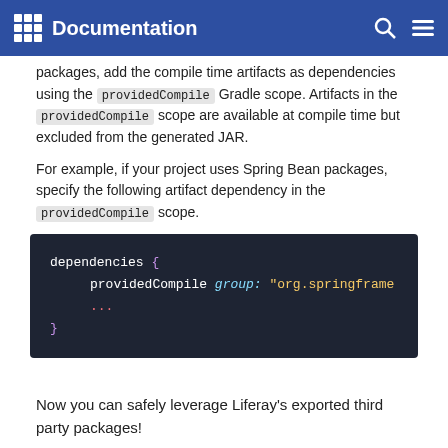Documentation
packages, add the compile time artifacts as dependencies using the providedCompile Gradle scope. Artifacts in the providedCompile scope are available at compile time but excluded from the generated JAR.
For example, if your project uses Spring Bean packages, specify the following artifact dependency in the providedCompile scope.
[Figure (screenshot): Code block showing Gradle dependency configuration:
dependencies {
    providedCompile group: "org.springframe
    ...
}]
Now you can safely leverage Liferay's exported third party packages!